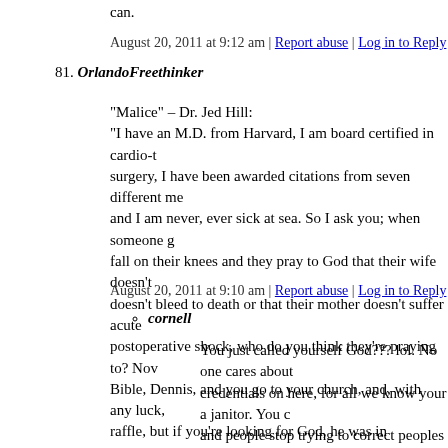can.
August 20, 2011 at 9:12 am | Report abuse | Log in to Reply
81. OrlandoFreethinker
"Malice" – Dr. Jed Hill:
"I have an M.D. from Harvard, I am board certified in cardio-t surgery, I have been awarded citations from seven different me and I am never, ever sick at sea. So I ask you; when someone g fall on their knees and they pray to God that their wife doesn't doesn't bleed to death or that their mother doesn't suffer acute postoperative shock, who do you think they're praying to? Nov Bible, Dennis, and you go to your church, and, with any luck, raffle, but if you're looking for God, he was in operating room and he doesn't like to be second guessed. You ask me if I have you something: I am God."
August 20, 2011 at 9:10 am | Report abuse | Log in to Reply
cornell
You just called yourself God??? lol. No one cares about credentials on here, for all we know your a janitor. You c and people stop trying to correct peoples grammar and s have another window up with a dictionary and spell che filled with infinite information. and you have to be on th